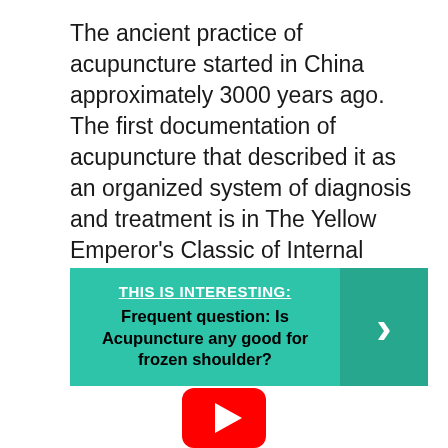The ancient practice of acupuncture started in China approximately 3000 years ago. The first documentation of acupuncture that described it as an organized system of diagnosis and treatment is in The Yellow Emperor's Classic of Internal Medicine, which dates back to 100 BCE.
[Figure (infographic): Teal/green callout box with text 'THIS IS INTERESTING: Frequent question: Is Acupuncture any good for frozen shoulder?' and a dark teal right-arrow chevron panel on the right side.]
[Figure (logo): YouTube play button logo (red rounded rectangle with white triangle) partially visible at the bottom of the page.]